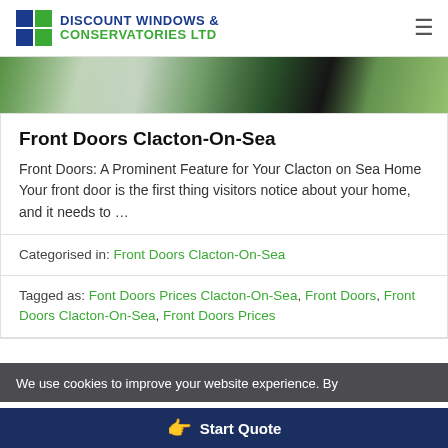DISCOUNT WINDOWS & CONSERVATORIES LTD
[Figure (photo): Hero image strip showing various front door styles in green and dark tones]
Front Doors Clacton-On-Sea
Front Doors: A Prominent Feature for Your Clacton on Sea Home Your front door is the first thing visitors notice about your home, and it needs to …
Categorised in: Front Doors Clacton-On-Sea
Tagged as: Font Doors Prices Clacton-On-Sea, Front Doors, Front Doors Clacton-On-Sea, Front Doors Prices
We use cookies to improve your website experience. By
Start Quote